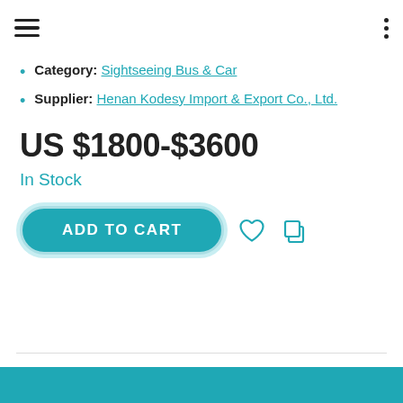Navigation header with hamburger menu and dots menu
Category: Sightseeing Bus & Car
Supplier: Henan Kodesy Import & Export Co., Ltd.
US $1800-$3600
In Stock
ADD TO CART